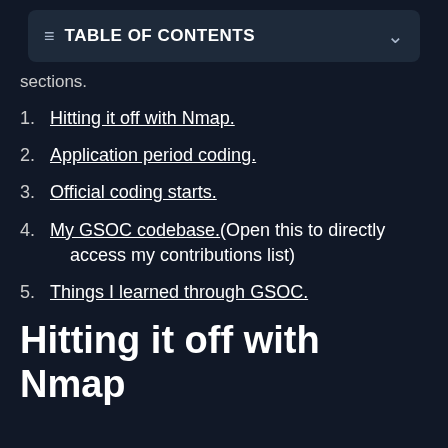TABLE OF CONTENTS
sections.
1. Hitting it off with Nmap.
2. Application period coding.
3. Official coding starts.
4. My GSOC codebase.(Open this to directly access my contributions list)
5. Things I learned through GSOC.
Hitting it off with Nmap